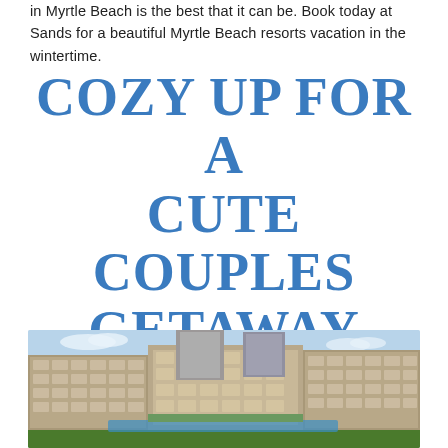in Myrtle Beach is the best that it can be. Book today at Sands for a beautiful Myrtle Beach resorts vacation in the wintertime.
COZY UP FOR A CUTE COUPLES GETAWAY THIS WINTER
[Figure (photo): Aerial or elevated view of a large beachfront hotel resort complex with multiple connected buildings, balconies, and blue sky background.]